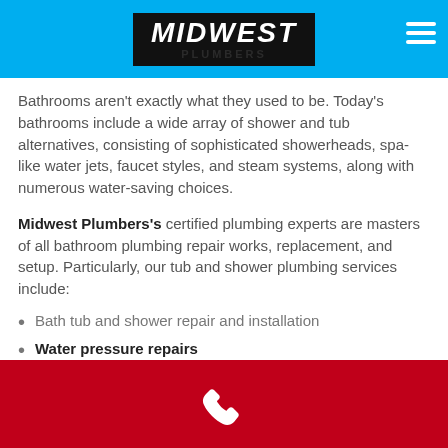[Figure (logo): Midwest Plumbers logo on dark background with blue navigation bar and hamburger menu icon]
Bathrooms aren't exactly what they used to be. Today's bathrooms include a wide array of shower and tub alternatives, consisting of sophisticated showerheads, spa-like water jets, faucet styles, and steam systems, along with numerous water-saving choices.
Midwest Plumbers's certified plumbing experts are masters of all bathroom plumbing repair works, replacement, and setup. Particularly, our tub and shower plumbing services include:
Bath tub and shower repair and installation
Water pressure repairs
Faucet repair and replacement
Showerhead repair and replacement
[Figure (illustration): White phone handset icon on red footer bar]